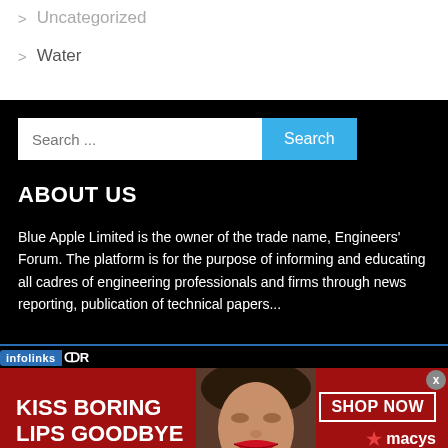Uncategorized
Water
Search ...
ABOUT US
Blue Apple Limited is the owner of the trade name, Engineers' Forum. The platform is for the purpose of informing and educating all cadres of engineering professionals and firms through news reporting, publication of technical papers...
[Figure (screenshot): infolinks advertisement bar with logo]
[Figure (infographic): Macy's advertisement banner: KISS BORING LIPS GOODBYE with woman's face and SHOP NOW button and Macy's logo]